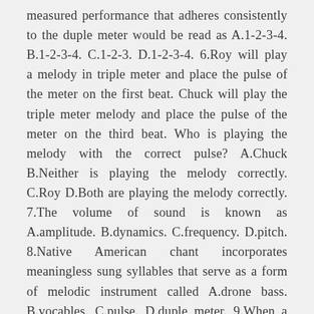measured performance that adheres consistently to the duple meter would be read as A.1-2-3-4. B.1-2-3-4. C.1-2-3. D.1-2-3-4. 6.Roy will play a melody in triple meter and place the pulse of the meter on the first beat. Chuck will play the triple meter melody and place the pulse of the meter on the third beat. Who is playing the melody with the correct pulse? A.Chuck B.Neither is playing the melody correctly. C.Roy D.Both are playing the melody correctly. 7.The volume of sound is known as A.amplitude. B.dynamics. C.frequency. D.pitch. 8.Native American chant incorporates meaningless sung syllables that serve as a form of melodic instrument called A.drone bass. B.vocables. C.pulse. D.duple meter. 9.When a composer sets a single syllable of a word to several notes of music, he or she is using _______ style.